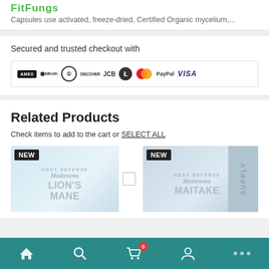FitFungs
Capsules use activated, freeze-dried, Certified Organic mycelium,...
Secured and trusted checkout with
[Figure (infographic): Payment method icons: American Express, Bitcoin, Diners Club, Discover, JCB, Litecoin, Mastercard, PayPal, Visa]
Related Products
Check items to add to the cart or SELECT ALL
[Figure (photo): Product card labeled NEW with Host Defense Mushrooms Lion's Mane product image]
[Figure (photo): Product card labeled NEW with Host Defense Mushrooms Maitake product image, partially visible Supply label on right]
Home | Search | Cart (0) | Account | More